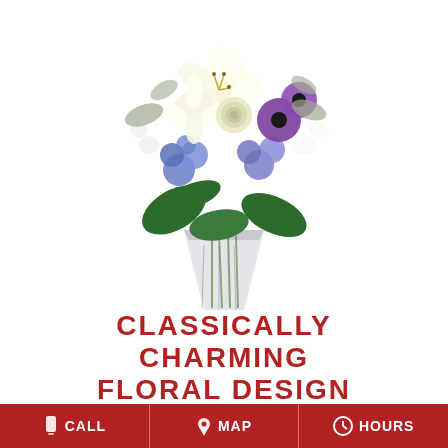[Figure (photo): A floral arrangement in a faceted glass vase featuring white lilies, cream ranunculus, purple anemones, blue delphinium, white alstroemeria, and green foliage on a white background.]
CLASSICALLY CHARMING FLORAL DESIGN
Shown at $85.95
BUY NOW
CALL  MAP  HOURS